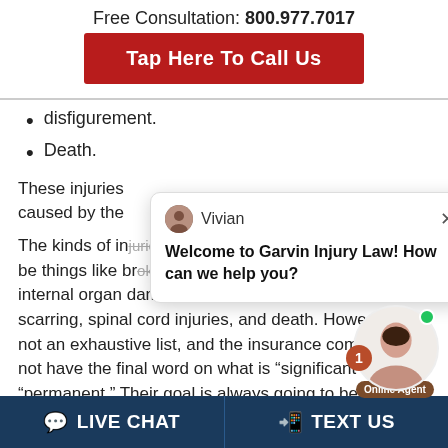Free Consultation: 800.977.7017
Tap Here To Call Us
disfigurement.
Death.
These injuries caused by the
The kinds of injuries be things like broken bones, traumatic brain injuries, internal organ damage, significant facial fractures and scarring, spinal cord injuries, and death. However, not an exhaustive list, and the insurance company not have the final word on what is "significant" or "permanent." Their goal is always going to be to
[Figure (screenshot): Chat popup with avatar of Vivian and message: Welcome to Garvin Injury Law! How can we help you?]
[Figure (photo): Online agent photo with green online dot, notification badge showing 1, and Online Agent label]
LIVE CHAT   TEXT US